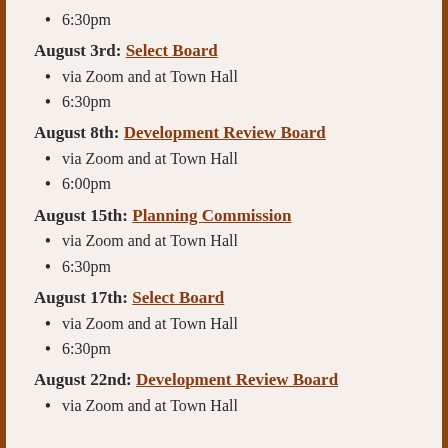6:30pm
August 3rd: Select Board
via Zoom and at Town Hall
6:30pm
August 8th: Development Review Board
via Zoom and at Town Hall
6:00pm
August 15th: Planning Commission
via Zoom and at Town Hall
6:30pm
August 17th: Select Board
via Zoom and at Town Hall
6:30pm
August 22nd: Development Review Board
via Zoom and at Town Hall